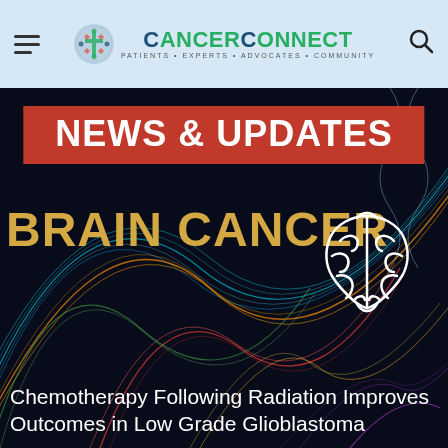CancerConnect — Patients • Experts • Advocates • Community
NEWS & UPDATES
BRAIN CANCER
[Figure (illustration): White outline icon of a human brain]
[Figure (illustration): Dark background with colorful abstract wave/neural network lines in blue, orange, red, green, and yellow arching across the frame]
Chemotherapy Following Radiation Improves Outcomes in Low Grade Glioblastoma